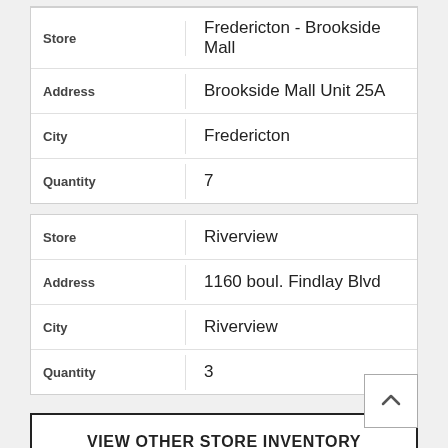| Field | Value |
| --- | --- |
| Store | Fredericton - Brookside Mall |
| Address | Brookside Mall Unit 25A |
| City | Fredericton |
| Quantity | 7 |
| Field | Value |
| --- | --- |
| Store | Riverview |
| Address | 1160 boul. Findlay Blvd |
| City | Riverview |
| Quantity | 3 |
VIEW OTHER STORE INVENTORY